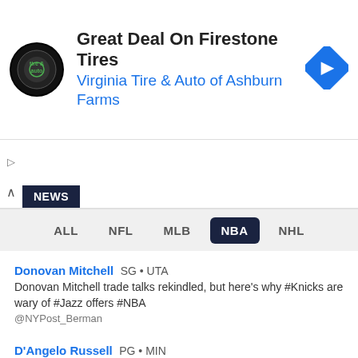[Figure (other): Advertisement banner: Virginia Tire & Auto of Ashburn Farms promoting Great Deal On Firestone Tires, with tire & auto logo on left and blue diamond navigation icon on right]
NEWS tab navigation area with caret up and NEWS label
ALL  NFL  MLB  NBA  NHL sport filter bar with NBA selected
Donovan Mitchell  SG • UTA
Donovan Mitchell trade talks rekindled, but here's why #Knicks are wary of #Jazz offers #NBA
@NYPost_Berman
D'Angelo Russell  PG • MIN
D'Angelo Russell in the house for the Vikings-Niners game
@JonKrawczynski
Tyrese Haliburton  PG • IND
"It's hard not to get giddy about where Tyrese Haliburton could be in 4, 5, 6 years for us," Chad Buchanan said
@AlexKennedyNBA
Tyrese Haliburton  PG • IND
Tyrese Haliburton said his "biggest goal [this offseason]